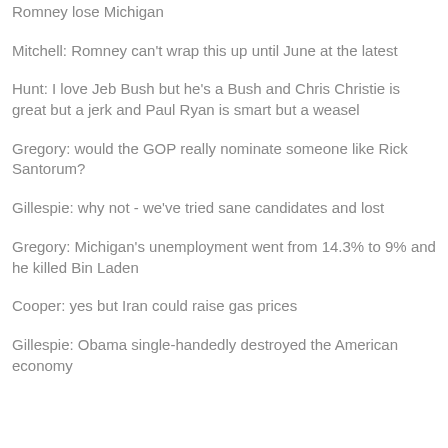Romney lose Michigan
Mitchell: Romney can't wrap this up until June at the latest
Hunt: I love Jeb Bush but he's a Bush and Chris Christie is great but a jerk and Paul Ryan is smart but a weasel
Gregory: would the GOP really nominate someone like Rick Santorum?
Gillespie: why not - we've tried sane candidates and lost
Gregory: Michigan's unemployment went from 14.3% to 9% and he killed Bin Laden
Cooper: yes but Iran could raise gas prices
Gillespie: Obama single-handedly destroyed the American economy